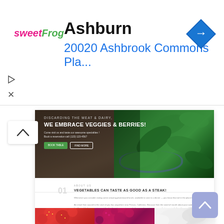[Figure (screenshot): Ad banner for sweetFrog at Ashburn, 20020 Ashbrook Commons Pla..., with blue navigation/directions diamond icon, play and close buttons]
Ashburn
20020 Ashbrook Commons Pla...
[Figure (screenshot): Screenshot of a veggie/restaurant website. Hero image: bowl of spinach with text 'DISCARDING THE MEAT & DAIRY, WE EMBRACE VEGGIES & BERRIES!' and subtitle text about reservations and phone number. Below hero: section '01 VEGETABLES CAN TASTE AS GOOD AS A STEAK!' with body text about the restaurant and three badge icons. Bottom: three food thumbnail images (strawberries, raspberries, light-colored food).]